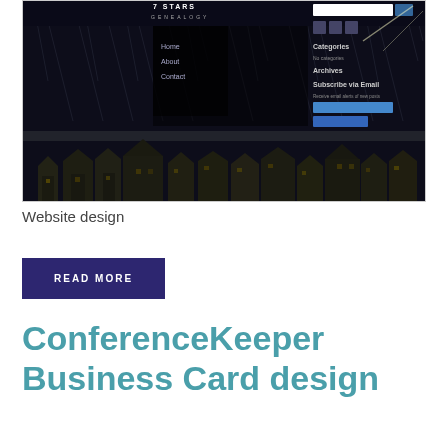[Figure (screenshot): Screenshot of a genealogy website called '7 Stars Genealogy' with dark background showing a rainy night scene with houses, navigation menu on left, sidebar with categories/archives/subscribe on right]
Website design
READ MORE
ConferenceKeeper Business Card design